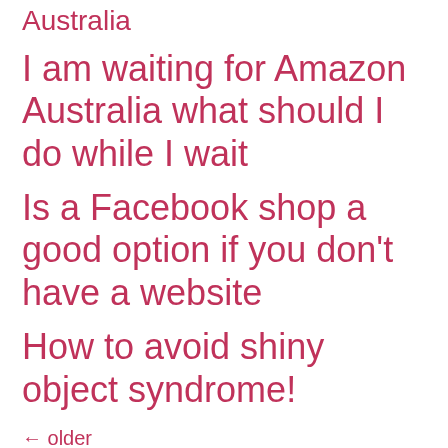Australia
I am waiting for Amazon Australia what should I do while I wait
Is a Facebook shop a good option if you don't have a website
How to avoid shiny object syndrome!
← older